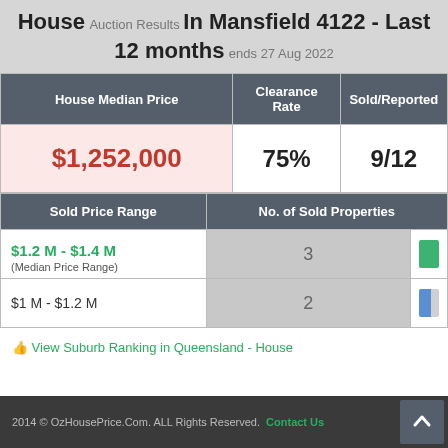House Auction Results In Mansfield 4122 - Last 12 months ends 27 Aug 2022
| House Median Price | Clearance Rate | Sold/Reported |
| --- | --- | --- |
| $1,252,000 | 75% | 9/12 |
| Sold Price Range | No. of Sold Properties |
| --- | --- |
| $1.2 M - $1.4 M (Median Price Range) | 3 | [green bar] |
| $1 M - $1.2 M | 2 | [blue bar] |
View Suburb Ranking in Queensland - House
2014 © OzHousePrice.Com. ALL Rights Reserved. Contact Us